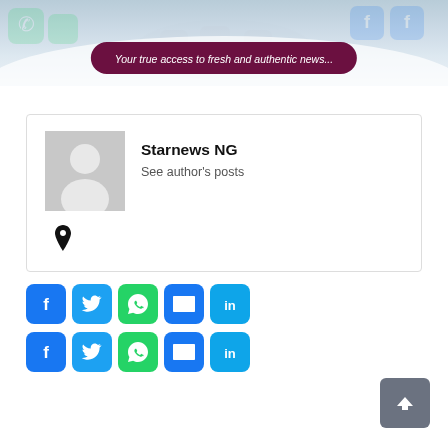[Figure (illustration): Website banner with social media icons in background and a dark purple pill-shaped banner reading 'Your true access to fresh and authentic news...' in italic white text]
Starnews NG
See author's posts
[Figure (infographic): Location pin icon]
[Figure (infographic): Row of social share buttons: Facebook, Twitter, WhatsApp, Email, LinkedIn]
[Figure (infographic): Second row of social share buttons: Facebook, Twitter, WhatsApp, Email, LinkedIn]